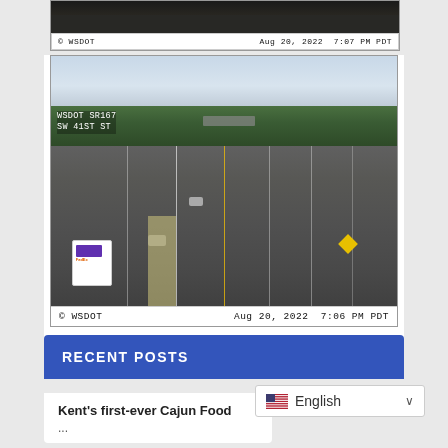[Figure (screenshot): WSDOT traffic camera image — partial view of highway, dark/blurred top portion with copyright text bottom: © WSDOT Aug 20, 2022 7:07 PM PDT]
[Figure (photo): WSDOT traffic camera image of SR 167 at SW 41ST ST — multi-lane highway with trees on both sides, bridge overpass in distance, vehicles including FedEx truck. Label overlay: WSDOT SR167 SW 41ST ST. Caption: © WSDOT Aug 20, 2022 7:06 PM PDT]
RECENT POSTS
Kent's first-ever Cajun Food
[Figure (screenshot): Language selector widget showing English with US flag and dropdown arrow]